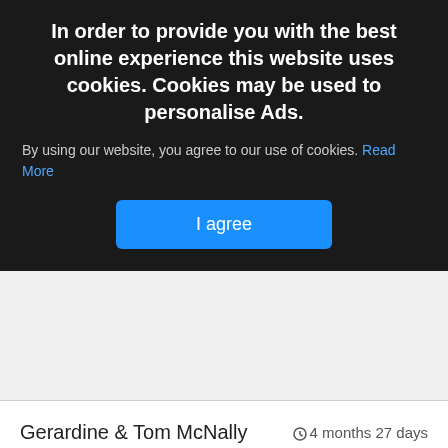In order to provide you with the best online experience this website uses cookies. Cookies may be used to personalise Ads.
By using our website, you agree to our use of cookies. Read More
I agree
Gerardine & Tom McNally · 4 months 27 days
Deepest sympathy to all the Bolster family on the sad passing of Jackie. May she rest in peace.
Peter Armstrong · 4 months 27 days
So sorry to hear this sad news, Deepest Sympathy to family and friends. May Jackie's sweet soul rest in peace.